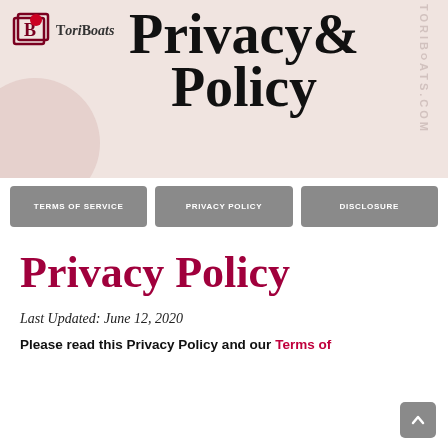[Figure (logo): ToriBoats logo with icon and stylized Privacy & Policy text banner on pinkish beige background]
TERMS OF SERVICE
PRIVACY POLICY
DISCLOSURE
Privacy Policy
Last Updated: June 12, 2020
Please read this Privacy Policy and our Terms of